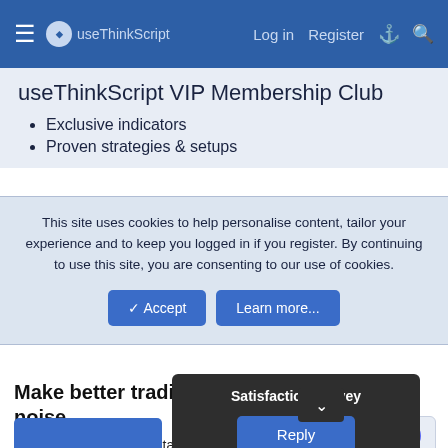≡ useThinkScript   Log in   Register
useThinkScript VIP Membership Club
Exclusive indicators
Proven strategies & setups
This site uses cookies to help personalise content, tailor your experience and to keep you logged in if you register. By continuing to use this site, you are consenting to our use of cookies.
✓ Accept   Learn more...
Make better trading decisions with less noise
Join useThinkScript to stay update to date on the latest indicators, trade strategies, and tips for thinkorswim
Satisfaction Survey
Reply